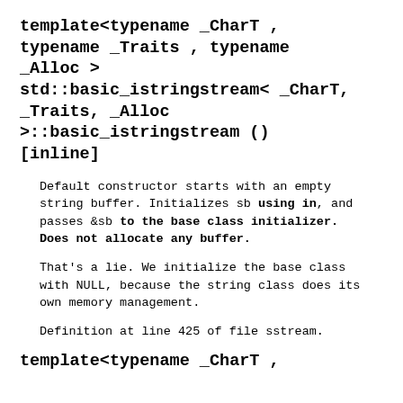template<typename _CharT , typename _Traits , typename _Alloc >
std::basic_istringstream< _CharT, _Traits, _Alloc
>::basic_istringstream ()
[inline]
Default constructor starts with an empty string buffer. Initializes sb using in, and passes &sb to the base class initializer. Does not allocate any buffer.
That's a lie. We initialize the base class with NULL, because the string class does its own memory management.
Definition at line 425 of file sstream.
template<typename _CharT ,